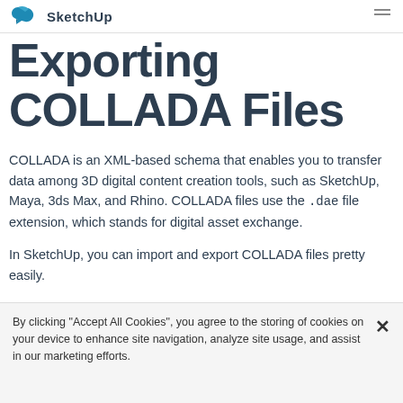SketchUp
Exporting COLLADA Files
COLLADA is an XML-based schema that enables you to transfer data among 3D digital content creation tools, such as SketchUp, Maya, 3ds Max, and Rhino. COLLADA files use the .dae file extension, which stands for digital asset exchange.
In SketchUp, you can import and export COLLADA files pretty easily.
By clicking “Accept All Cookies”, you agree to the storing of cookies on your device to enhance site navigation, analyze site usage, and assist in our marketing efforts.